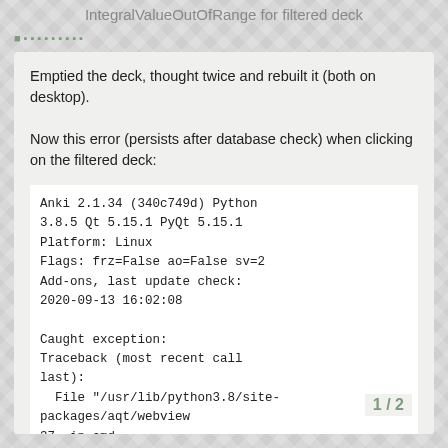IntegralValueOutOfRange for filtered deck
Emptied the deck, thought twice and rebuilt it (both on desktop).

Now this error (persists after database check) when clicking on the filtered deck:
Anki 2.1.34 (340c749d) Python 3.8.5 Qt 5.15.1 PyQt 5.15.1
Platform: Linux
Flags: frz=False ao=False sv=2
Add-ons, last update check:
2020-09-13 16:02:08

Caught exception:
Traceback (most recent call last):
  File "/usr/lib/python3.8/site-packages/aqt/webview
37, in cmd
1 / 2